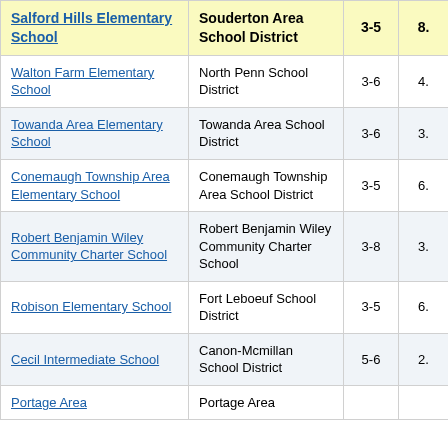| School | District | Grades | Score |
| --- | --- | --- | --- |
| Salford Hills Elementary School | Souderton Area School District | 3-5 | 8. |
| Walton Farm Elementary School | North Penn School District | 3-6 | 4. |
| Towanda Area Elementary School | Towanda Area School District | 3-6 | 3. |
| Conemaugh Township Area Elementary School | Conemaugh Township Area School District | 3-5 | 6. |
| Robert Benjamin Wiley Community Charter School | Robert Benjamin Wiley Community Charter School | 3-8 | 3. |
| Robison Elementary School | Fort Leboeuf School District | 3-5 | 6. |
| Cecil Intermediate School | Canon-Mcmillan School District | 5-6 | 2. |
| Portage Area | Portage Area |  |  |